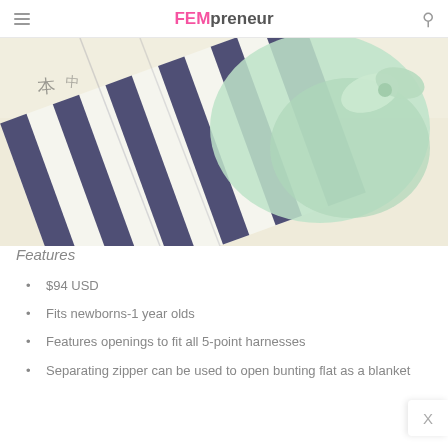FEMpreneur
[Figure (photo): A striped navy and white bunting/sleeping bag with a green satin lining and bow tie, laid out flat against a cream background.]
Features
$94 USD
Fits newborns-1 year olds
Features openings to fit all 5-point harnesses
Separating zipper can be used to open bunting flat as a blanket